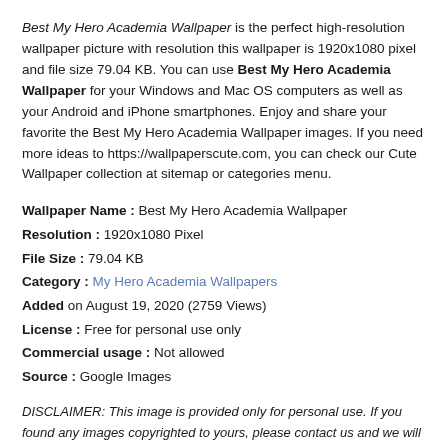Best My Hero Academia Wallpaper is the perfect high-resolution wallpaper picture with resolution this wallpaper is 1920x1080 pixel and file size 79.04 KB. You can use Best My Hero Academia Wallpaper for your Windows and Mac OS computers as well as your Android and iPhone smartphones. Enjoy and share your favorite the Best My Hero Academia Wallpaper images. If you need more ideas to https://wallpaperscute.com, you can check our Cute Wallpaper collection at sitemap or categories menu.
Wallpaper Name : Best My Hero Academia Wallpaper
Resolution : 1920x1080 Pixel
File Size : 79.04 KB
Category : My Hero Academia Wallpapers
Added on August 19, 2020 (2759 Views)
License : Free for personal use only
Commercial usage : Not allowed
Source : Google Images
DISCLAIMER: This image is provided only for personal use. If you found any images copyrighted to yours, please contact us and we will remove it.